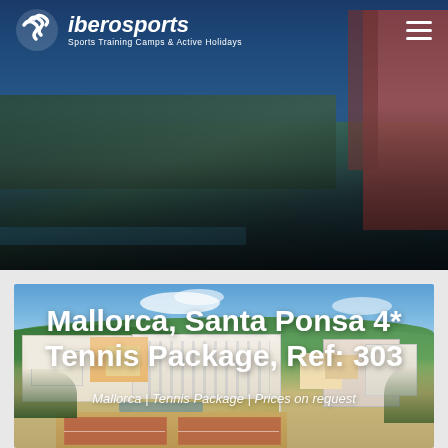iberosports — Sports Training Camps & Active Holidays
Mallorca, Santa Ponsa 4* Tennis Package, Ref: 303
Mallorca | Tennis Package | Prices on request
[Figure (photo): Aerial/elevated view of Santa Ponsa resort hotel complex with red-orange buildings surrounded by palm trees and greenery, with a pool area visible in the foreground, and blue sky overhead.]